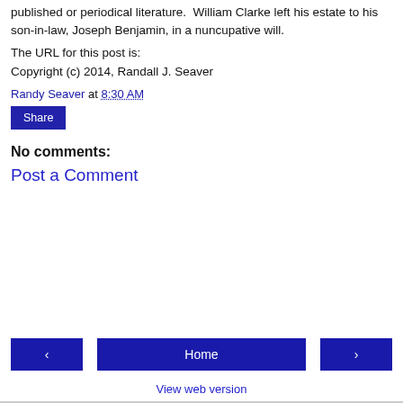published or periodical literature. William Clarke left his estate to his son-in-law, Joseph Benjamin, in a nuncupative will.
The URL for this post is:
Copyright (c) 2014, Randall J. Seaver
Randy Seaver at 8:30 AM
Share
No comments:
Post a Comment
‹
Home
›
View web version